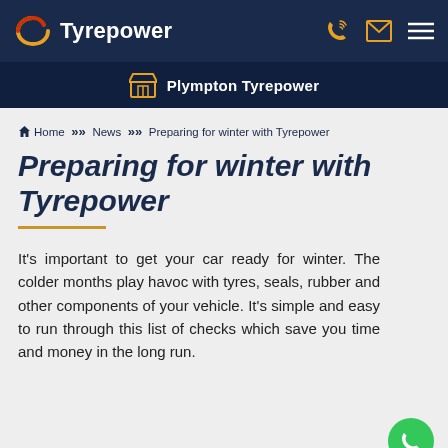Tyrepower
Plympton Tyrepower
Home >> News >> Preparing for winter with Tyrepower
Preparing for winter with Tyrepower
It's important to get your car ready for winter. The colder months play havoc with tyres, seals, rubber and other components of your vehicle. It's simple and easy to run through this list of checks which save you time and money in the long run.